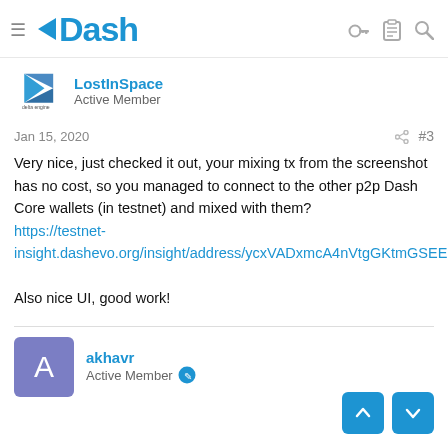Dash
[Figure (logo): Delta engine / LostInSpace user avatar logo]
LostInSpace
Active Member
Jan 15, 2020   #3
Very nice, just checked it out, your mixing tx from the screenshot has no cost, so you managed to connect to the other p2p Dash Core wallets (in testnet) and mixed with them?
https://testnet-insight.dashevo.org/insight/address/ycxVADxmcA4nVtgGKtmGSEEpjgxJXGRdKM

Also nice UI, good work!
[Figure (logo): akhavr user avatar - purple square with letter A]
akhavr
Active Member